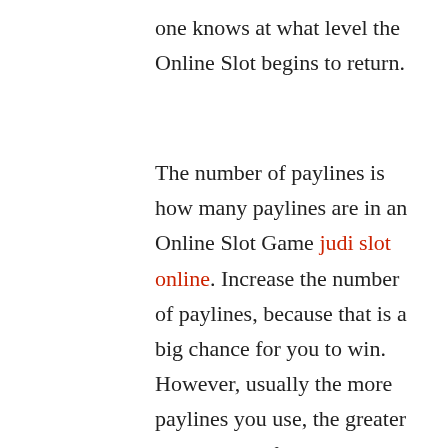one knows at what level the Online Slot begins to return.
The number of paylines is how many paylines are in an Online Slot Game judi slot online. Increase the number of paylines, because that is a big chance for you to win. However, usually the more paylines you use, the greater the number of bets you have to input in each round. The last one is a symbol. Online Slot Games have several game types with a number of different themes and symbols. Some are known to be small symbols and big symbols where this small